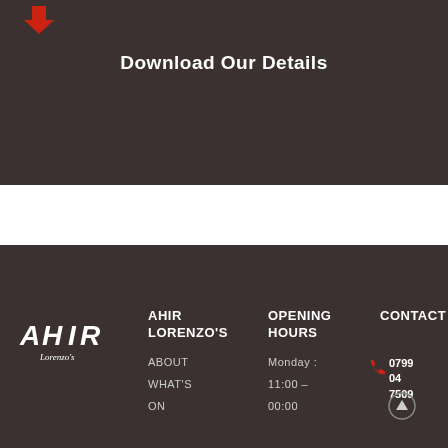[Figure (illustration): Red heart/arrow icon on dark brown background]
Download Our Details
[Figure (logo): AHIR Lorenzo's stylized logo in white on dark brown background]
AHIR LORENZO'S
OPENING HOURS
CONTACT
ABOUT
WHAT'S ON
Monday : 11:00 – 00:00
0799 04... 7509